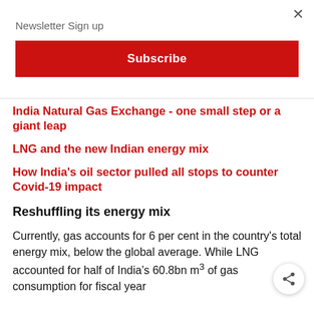Newsletter Sign up
Subscribe
India Natural Gas Exchange - one small step or a giant leap
LNG and the new Indian energy mix
How India's oil sector pulled all stops to counter Covid-19 impact
Reshuffling its energy mix
Currently, gas accounts for 6 per cent in the country's total energy mix, below the global average. While LNG accounted for half of India's 60.8bn m³ of gas consumption for fiscal year…